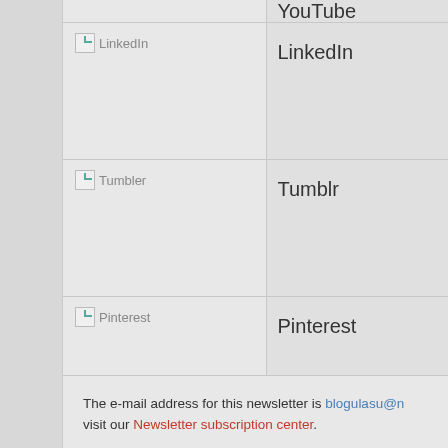| Icon | Name |
| --- | --- |
| [LinkedIn icon] | LinkedIn |
| [Tumblr icon] | Tumblr |
| [Pinterest icon] | Pinterest |
| [Newsletters icon] | Newsletters |
| [RSS icon] | RSS |
The e-mail address for this newsletter is blogulasu@... visit our Newsletter subscription center.
Unsubscribe / Help / Privacy policy